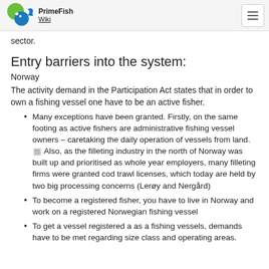PrimeFish Wiki
sector.
Entry barriers into the system:
Norway
The activity demand in the Participation Act states that in order to own a fishing vessel one have to be an active fisher.
Many exceptions have been granted. Firstly, on the same footing as active fishers are administrative fishing vessel owners – caretaking the daily operation of vessels from land. [fn] Also, as the filleting industry in the north of Norway was built up and prioritised as whole year employers, many filleting firms were granted cod trawl licenses, which today are held by two big processing concerns (Lerøy and Nergård)
To become a registered fisher, you have to live in Norway and work on a registered Norwegian fishing vessel
To get a vessel registered a as a fishing vessels, demands have to be met regarding size class and operating areas.